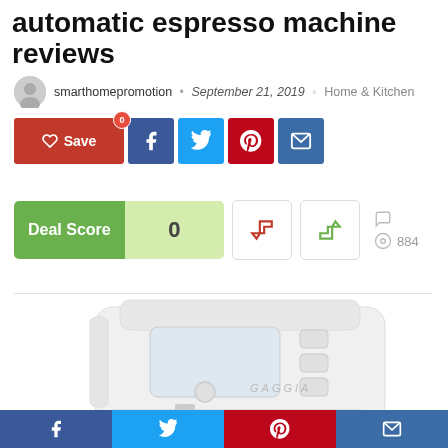automatic espresso machine reviews
smarthomepromotion · September 21, 2019 · Home & Kitchen
[Figure (screenshot): Social share buttons: Save, Facebook, Twitter, Pinterest, Email]
[Figure (infographic): Deal Score widget showing 0, with downvote and upvote buttons, comment icon, and 884 views]
[Figure (photo): White Gaggia automatic espresso machine product photo]